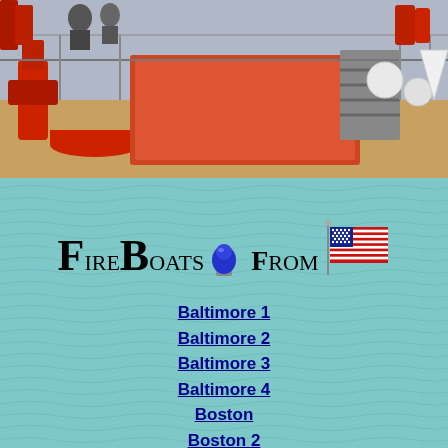[Figure (photo): Top portion of a fireboat deck showing red firefighting equipment, a large orange/red box-like structure, pipes, railings, and crew visible at top of stairs. Industrial marine vessel deck.]
FireBoats From [blue light icon] [US flag icon]
Baltimore 1
Baltimore 2
Baltimore 3
Baltimore 4
Boston
Boston 2
Cape Cod 1
Cape Cod 2